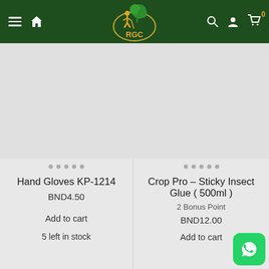[Figure (screenshot): RGC website header with dark green background. Hamburger menu and home icon on left, RGC logo (golfer and tree) in center, search/account/cart icons on right with cart badge '0'.]
Hand Gloves KP-1214
BND4.50
Add to cart
5 left in stock
Crop Pro – Sticky Insect Glue ( 500ml )
2 Bonus Point
BND12.00
Add to cart